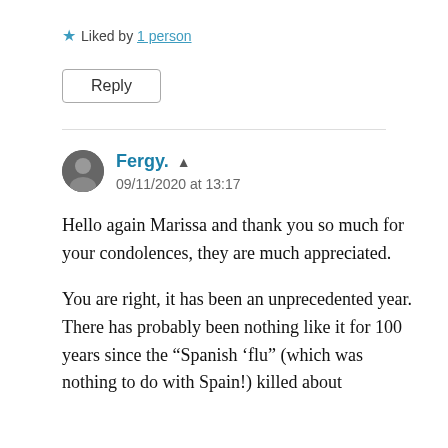★ Liked by 1 person
Reply
Fergy. 09/11/2020 at 13:17
Hello again Marissa and thank you so much for your condolences, they are much appreciated.
You are right, it has been an unprecedented year. There has probably been nothing like it for 100 years since the “Spanish ‘flu” (which was nothing to do with Spain!) killed about